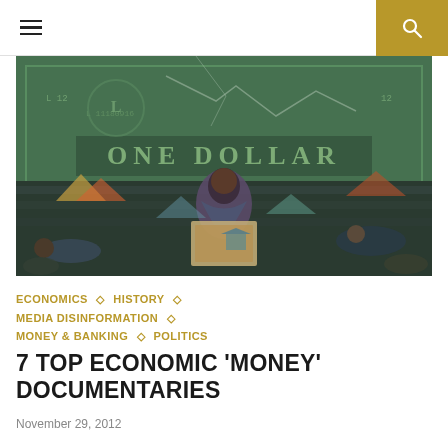☰ [menu icon] | [search icon]
[Figure (illustration): Composite image showing a torn dollar bill backdrop with 'ONE DOLLAR' text visible, overlaid with scenes of people at an Occupy-style protest/encampment with tents, sleeping people, and someone holding a cardboard sign with a house image.]
ECONOMICS ◇ HISTORY ◇ MEDIA DISINFORMATION ◇ MONEY & BANKING ◇ POLITICS
7 TOP ECONOMIC 'MONEY' DOCUMENTARIES
November 29, 2012